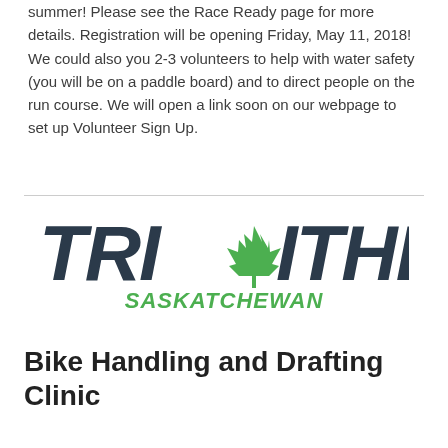summer! Please see the Race Ready page for more details. Registration will be opening Friday, May 11, 2018! We could also you 2-3 volunteers to help with water safety (you will be on a paddle board) and to direct people on the run course. We will open a link soon on our webpage to set up Volunteer Sign Up.
[Figure (logo): Triathlon Saskatchewan logo with green maple leaf replacing the letter A in TRIATHLON, and SASKATCHEWAN in green below]
Bike Handling and Drafting Clinic
...